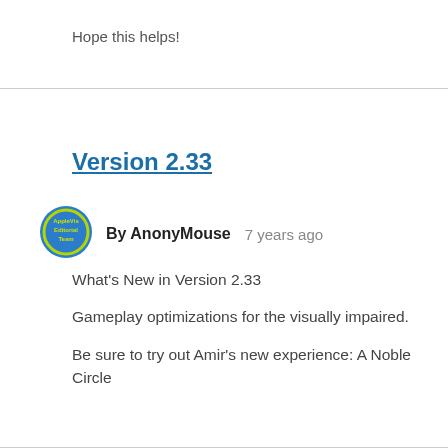Hope this helps!
Version 2.33
By AnonyMouse   7 years ago
What's New in Version 2.33

Gameplay optimizations for the visually impaired.

Be sure to try out Amir's new experience: A Noble Circle